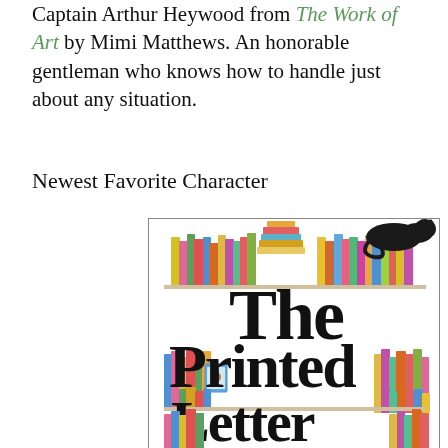Captain Arthur Heywood from The Work of Art by Mimi Matthews. An honorable gentleman who knows how to handle just about any situation.
Newest Favorite Character
[Figure (illustration): Book cover of 'The Printed Letter Bookshop' featuring colorful illustrated books on shelves and a black cat sleeping on top of a stack of books. The title is rendered in large decorative serif text.]